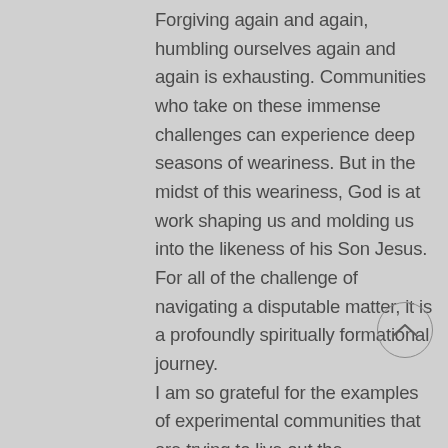Forgiving again and again, humbling ourselves again and again is exhausting. Communities who take on these immense challenges can experience deep seasons of weariness. But in the midst of this weariness, God is at work shaping us and molding us into the likeness of his Son Jesus. For all of the challenge of navigating a disputable matter, it is a profoundly spiritually formational journey. I am so grateful for the examples of experimental communities that are trying to live out the generosity, grace, and hospitality of diversity through wrestling through what it means to view covenanted same-sex relationships as a disputable matter. And while these experimental communities are